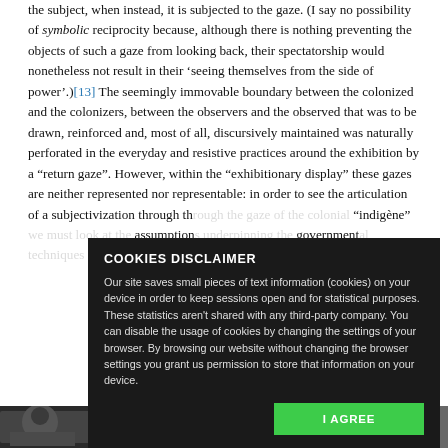the subject, when instead, it is subjected to the gaze. (I say no possibility of symbolic reciprocity because, although there is nothing preventing the objects of such a gaze from looking back, their spectatorship would nonetheless not result in their 'seeing themselves from the side of power'.)[13] The seemingly immovable boundary between the colonized and the colonizers, between the observers and the observed that was to be drawn, reinforced and, most of all, discursively maintained was naturally perforated in the everyday and resistive practices around the exhibition by a "return gaze". However, within the "exhibitionary display" these gazes are neither represented nor representable: in order to see the articulation of a subjectivization through th... "indigène" ... assumption... government... would like... dossiers of...
[Figure (screenshot): Cookies disclaimer popup overlay on a dark background reading: COOKIES DISCLAIMER. Our site saves small pieces of text information (cookies) on your device in order to keep sessions open and for statistical purposes. These statistics aren't shared with any third-party company. You can disable the usage of cookies by changing the settings of your browser. By browsing our website without changing the browser settings you grant us permission to store that information on your device. With a green I AGREE button.]
[Figure (photo): Grayscale photograph strip at the bottom of the page showing figures.]